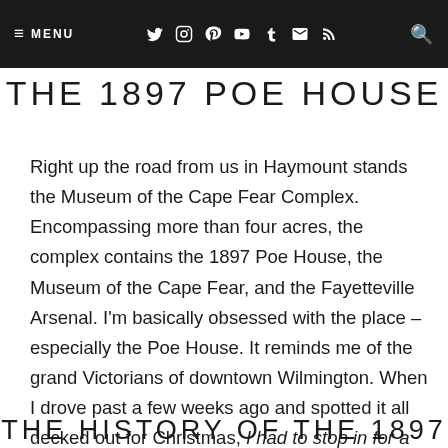≡ MENU   [social icons]   🔍
THE 1897 POE HOUSE
Right up the road from us in Haymount stands the Museum of the Cape Fear Complex. Encompassing more than four acres, the complex contains the 1897 Poe House, the Museum of the Cape Fear, and the Fayetteville Arsenal. I'm basically obsessed with the place – especially the Poe House. It reminds me of the grand Victorians of downtown Wilmington. When I drove past a few weeks ago and spotted it all decked out for Christmas, I had to stop in for a tour!
THE HISTORY OF THE 1897